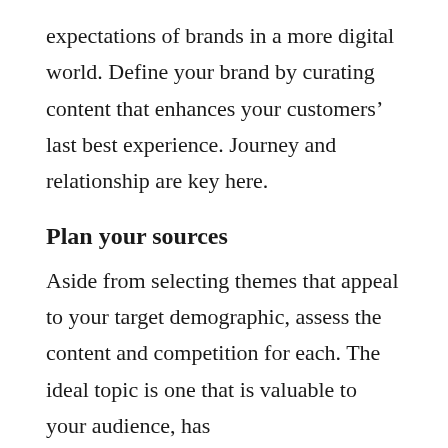expectations of brands in a more digital world. Define your brand by curating content that enhances your customers' last best experience. Journey and relationship are key here.
Plan your sources
Aside from selecting themes that appeal to your target demographic, assess the content and competition for each. The ideal topic is one that is valuable to your audience, has